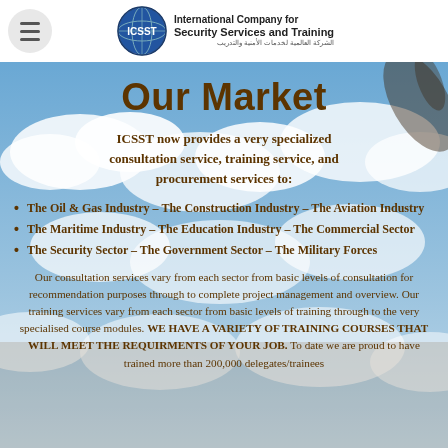International Company for Security Services and Training (ICSST)
Our Market
ICSST now provides a very specialized consultation service, training service, and procurement services to:
The Oil & Gas Industry – The Construction Industry – The Aviation Industry
The Maritime Industry – The Education Industry – The Commercial Sector
The Security Sector – The Government Sector – The Military Forces
Our consultation services vary from each sector from basic levels of consultation for recommendation purposes through to complete project management and overview. Our training services vary from each sector from basic levels of training through to the very specialised course modules. WE HAVE A VARIETY OF TRAINING COURSES THAT WILL MEET THE REQUIRMENTS OF YOUR JOB. To date we are proud to have trained more than 200,000 delegates/trainees